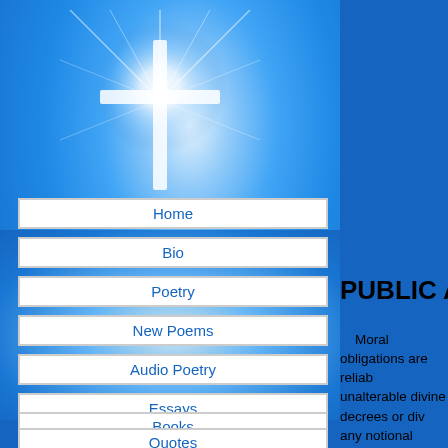[Figure (illustration): Blue sky background with glowing cross illustration and radiant light beams]
Chris[tian Poetry by]
Dorothy Ka[ne]
PUBLIC AUTHOR[ITY]
Moral obligations are reliab[le,] unalterable divine decrees or div[ine] any notional whim that involves decision that entails excludabilit[y] open the gateway to oppression The faithful standard of an enlig[htened] unswerving protection of the inn[ocent] unreservedly obey divine - unch[anged] civic and political trustworthine[ss]
Home
Bio
Poetry
New Poems
Audio Poetry
Essays
Books
Quotes